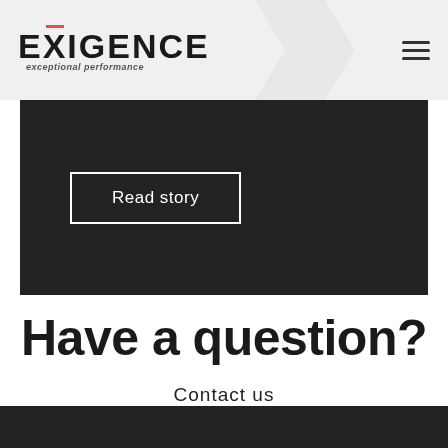EXIGENCE exceptional performance
Read story
Have a question?
Contact us